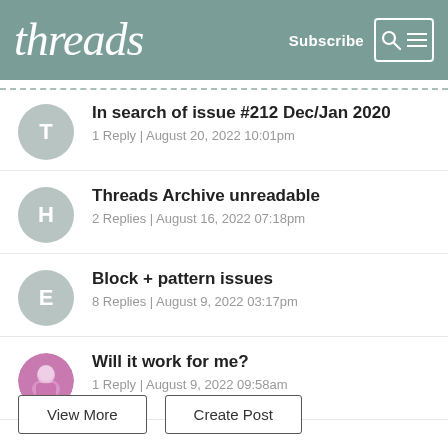threads | Subscribe
In search of issue #212 Dec/Jan 2020 | 1 Reply | August 20, 2022 10:01pm
Threads Archive unreadable | 2 Replies | August 16, 2022 07:18pm
Block + pattern issues | 8 Replies | August 9, 2022 03:17pm
Will it work for me? | 1 Reply | August 9, 2022 09:58am
View More | Create Post